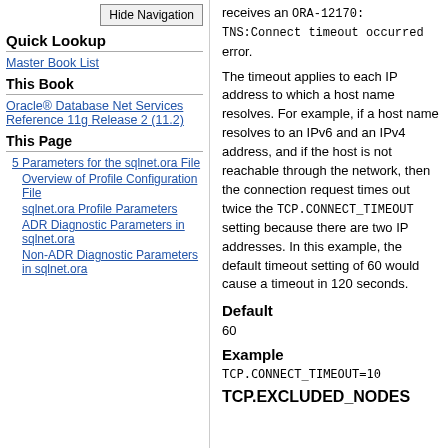Hide Navigation
Quick Lookup
Master Book List
This Book
Oracle® Database Net Services Reference 11g Release 2 (11.2)
This Page
5 Parameters for the sqlnet.ora File
Overview of Profile Configuration File
sqlnet.ora Profile Parameters
ADR Diagnostic Parameters in sqlnet.ora
Non-ADR Diagnostic Parameters in sqlnet.ora
receives an ORA-12170: TNS:Connect timeout occurred error.
The timeout applies to each IP address to which a host name resolves. For example, if a host name resolves to an IPv6 and an IPv4 address, and if the host is not reachable through the network, then the connection request times out twice the TCP.CONNECT_TIMEOUT setting because there are two IP addresses. In this example, the default timeout setting of 60 would cause a timeout in 120 seconds.
Default
60
Example
TCP.CONNECT_TIMEOUT=10
TCP.EXCLUDED_NODES